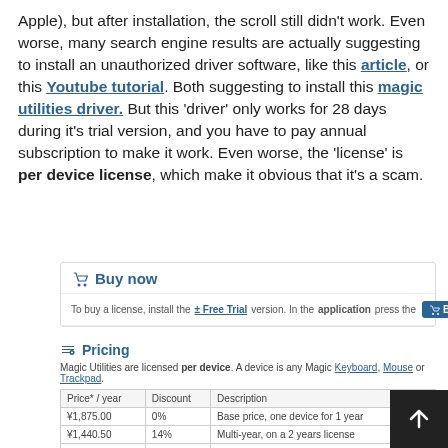Apple), but after installation, the scroll still didn't work. Even worse, many search engine results are actually suggesting to install an unauthorized driver software, like this article, or this Youtube tutorial. Both suggesting to install this magic utilities driver. But this 'driver' only works for 28 days during it's trial version, and you have to pay annual subscription to make it work. Even worse, the 'license' is per device license, which make it obvious that it's a scam.
Buy now
To buy a license, install the ± Free Trial version. In the application press the Buy now
Pricing
Magic Utilities are licensed per device. A device is any Magic Keyboard, Mouse or Trackpad.
| Price* / year | Discount | Description |
| --- | --- | --- |
| ¥1,875.00 | 0% | Base price, one device for 1 year |
| ¥1,440.50 | 14% | Multi-year, on a 2 years license |
| ¥1,407.00 | 16% | Multi buy², for each additional license |
| ¥1,440.10 | 20% | 45% multi-buy + 40% multi-year |